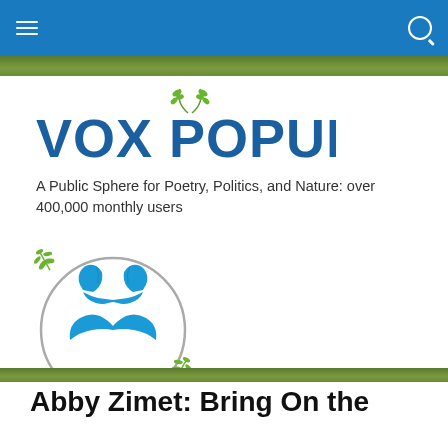Vox Populi navigation bar
[Figure (logo): Vox Populi logo with green wheat/leaf decoration above the X]
A Public Sphere for Poetry, Politics, and Nature: over 400,000 monthly users
[Figure (logo): Vox Populi circular emblem showing two blue face profiles with hands cupped below, surrounded by a grey circle with green wheat sprigs at top-left and bottom-right]
Abby Zimet: Bring On the